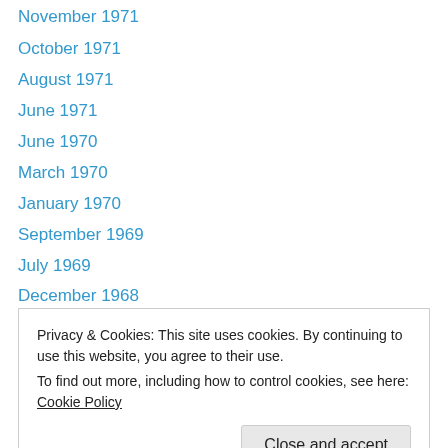November 1971
October 1971
August 1971
June 1971
June 1970
March 1970
January 1970
September 1969
July 1969
December 1968
April 1968
December 1967
November 1967
Privacy & Cookies: This site uses cookies. By continuing to use this website, you agree to their use.
To find out more, including how to control cookies, see here: Cookie Policy
March 1964